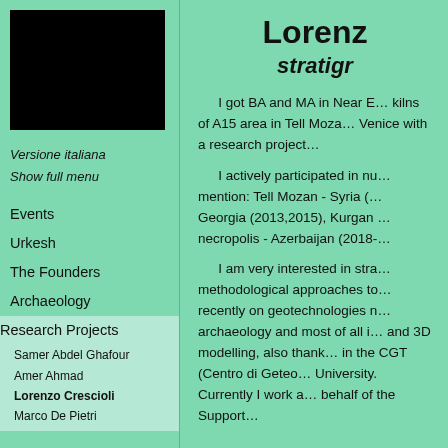[Figure (photo): Black rectangle placeholder for profile photo]
Versione italiana
Show full menu
Events
Urkesh
The Founders
Archaeology
Research Projects
Samer Abdel Ghafour
Amer Ahmad
Lorenzo Crescioli
Marco De Pietri
Lorenzo
stratigr…
I got BA and MA in Near E… kilns of A15 area in Tell Moza… Venice with a research project…
I actively participated in nu… mention: Tell Mozan - Syria (… Georgia (2013,2015), Kurgan… necropolis - Azerbaijan (2018-…
I am very interested in stra… methodological approaches to… recently on geotechnologies n… archaeology and most of all i… and 3D modelling, also thank… in the CGT (Centro di Geteo… University. Currently I work a… behalf of the Support…